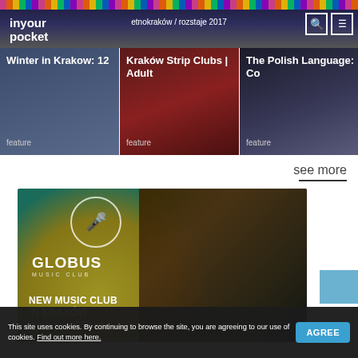in your pocket — etnokraków / rozstaje 2017
[Figure (screenshot): Feature card 1: Winter in Krakow: 12, feature]
[Figure (screenshot): Feature card 2: Kraków Strip Clubs | Adult, feature]
[Figure (screenshot): Feature card 3: The Polish Language: Co, feature]
see more
[Figure (photo): Globus Music Club advertisement banner. NEW MUSIC CLUB IN KRAKÓW Węgierska 4 Street]
This site uses cookies. By continuing to browse the site, you are agreeing to our use of cookies. Find out more here. AGREE